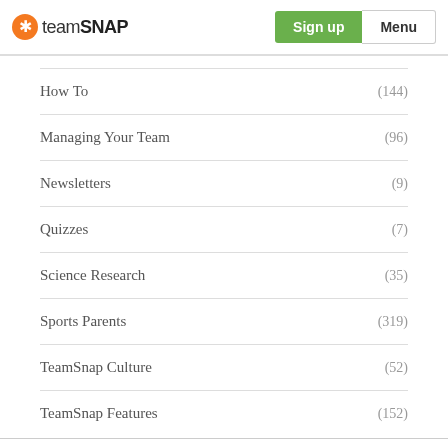teamSNAP | Sign up | Menu
How To (144)
Managing Your Team (96)
Newsletters (9)
Quizzes (7)
Science Research (35)
Sports Parents (319)
TeamSnap Culture (52)
TeamSnap Features (152)
Try TeamSnap for Free!
TeamSnap is the easiest way to manage your sports team online. Try it for free and see for yourself how easy it can